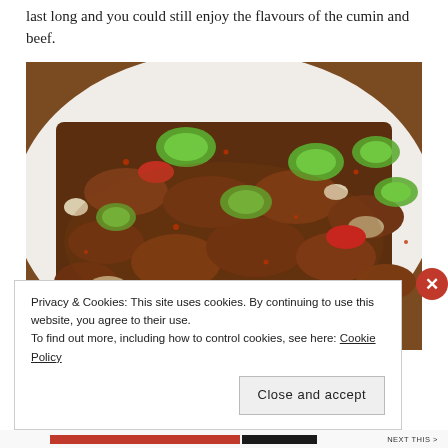last long and you could still enjoy the flavours of the cumin and beef.
[Figure (photo): A close-up photo of a spicy stir-fried beef dish with green peppers, red chili, onions, and garlic on a white plate.]
Privacy & Cookies: This site uses cookies. By continuing to use this website, you agree to their use.
To find out more, including how to control cookies, see here: Cookie Policy
Close and accept